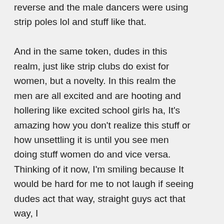reverse and the male dancers were using strip poles lol and stuff like that.

And in the same token, dudes in this realm, just like strip clubs do exist for women, but a novelty. In this realm the men are all excited and are hooting and hollering like excited school girls ha, It's amazing how you don't realize this stuff or how unsettling it is until you see men doing stuff women do and vice versa. Thinking of it now, I'm smiling because It would be hard for me to not laugh if seeing dudes act that way, straight guys act that way, I